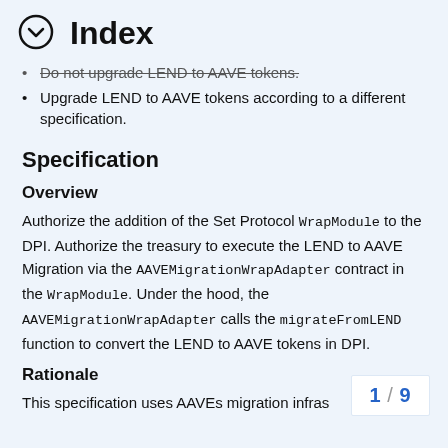⊙ Index
Do not upgrade LEND to AAVE tokens.
Upgrade LEND to AAVE tokens according to a different specification.
Specification
Overview
Authorize the addition of the Set Protocol WrapModule to the DPI. Authorize the treasury to execute the LEND to AAVE Migration via the AAVEMigrationWrapAdapter contract in the WrapModule. Under the hood, the AAVEMigrationWrapAdapter calls the migrateFromLEND function to convert the LEND to AAVE tokens in DPI.
Rationale
This specification uses AAVEs migration infras
1 / 9